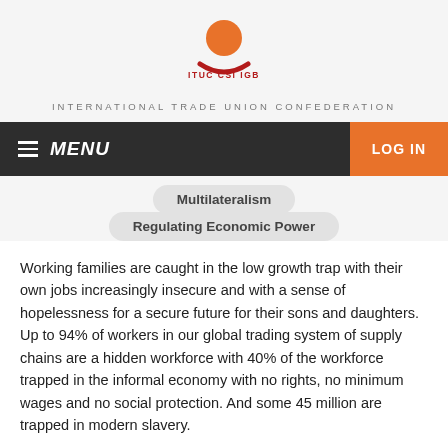[Figure (logo): ITUC CSI IGB logo with orange circle and red arc, text 'ITUC CSI IGB']
INTERNATIONAL TRADE UNION CONFEDERATION
MENU  LOG IN
Multilateralism
Regulating Economic Power
Working families are caught in the low growth trap with their own jobs increasingly insecure and with a sense of hopelessness for a secure future for their sons and daughters. Up to 94% of workers in our global trading system of supply chains are a hidden workforce with 40% of the workforce trapped in the informal economy with no rights, no minimum wages and no social protection. And some 45 million are trapped in modern slavery.